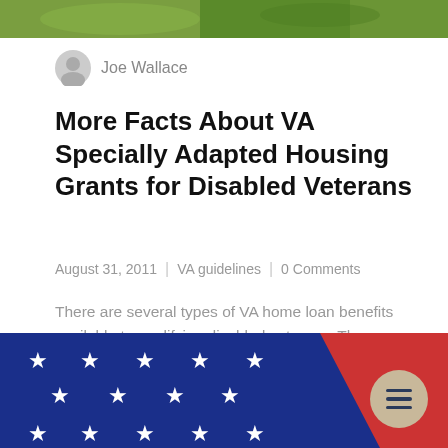[Figure (photo): Green landscape photo strip at the top of the page]
Joe Wallace
More Facts About VA Specially Adapted Housing Grants for Disabled Veterans
August 31, 2011 | VA guidelines | 0 Comments
There are several types of VA home loan benefits available to qualifying disabled veterans. Those benefits include special consideration for VA insured mortgages (qualifying disabled vets don't have...
[Figure (photo): American flag close-up showing blue field with white stars and red stripe, partially visible at bottom of page]